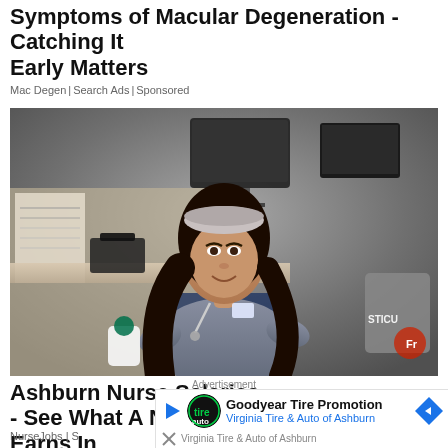Symptoms of Macular Degeneration - Catching It Early Matters
Mac Degen | Search Ads | Sponsored
[Figure (photo): A young woman in gray nursing scrubs with a stethoscope sitting at a hospital desk, smiling at the camera, holding a Starbucks cup. A STICU labeled bin is visible in the background.]
Ashburn Nurse Salaries - See What A Nurse Earns In 2022
NurseJobs | S...
Advertisement
Goodyear Tire Promotion
Virginia Tire & Auto of Ashburn